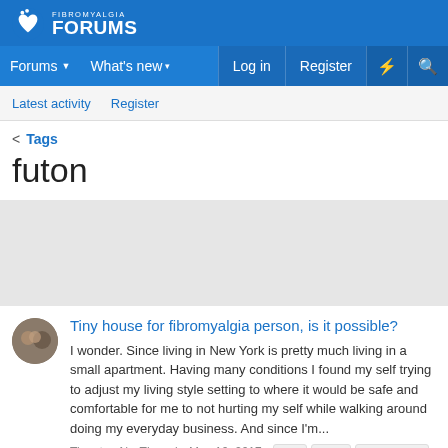FIBROMYALGIA FORUMS
Forums  What's new  Log in  Register
Latest activity  Register
< Tags
futon
Tiny house for fibromyalgia person, is it possible?
I wonder. Since living in New York is pretty much living in a small apartment. Having many conditions I found my self trying to adjust my living style setting to where it would be safe and comfortable for me to not hurting my self while walking around doing my everyday business. And since I'm...
Tipnatee N · Thread · May 10, 2017 · bed  chair  comfortable
condition  fatigue  fibromyalgia  futon  hurt  looking for